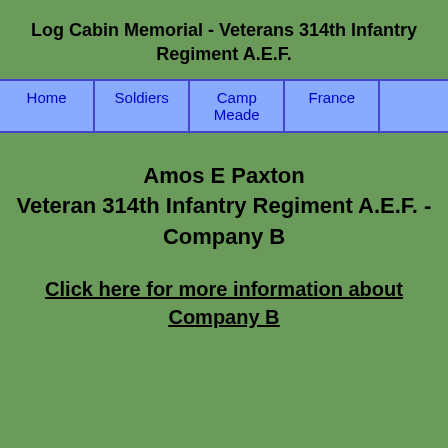Log Cabin Memorial - Veterans 314th Infantry Regiment A.E.F.
| Home | Soldiers | Camp Meade | France |  |
| --- | --- | --- | --- | --- |
Amos E Paxton
Veteran 314th Infantry Regiment A.E.F. - Company B
Click here for more information about Company B